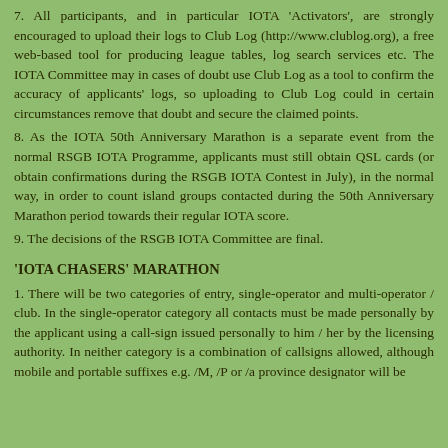7. All participants, and in particular IOTA 'Activators', are strongly encouraged to upload their logs to Club Log (http://www.clublog.org), a free web-based tool for producing league tables, log search services etc. The IOTA Committee may in cases of doubt use Club Log as a tool to confirm the accuracy of applicants' logs, so uploading to Club Log could in certain circumstances remove that doubt and secure the claimed points.
8. As the IOTA 50th Anniversary Marathon is a separate event from the normal RSGB IOTA Programme, applicants must still obtain QSL cards (or obtain confirmations during the RSGB IOTA Contest in July), in the normal way, in order to count island groups contacted during the 50th Anniversary Marathon period towards their regular IOTA score.
9. The decisions of the RSGB IOTA Committee are final.
'IOTA CHASERS' MARATHON
1. There will be two categories of entry, single-operator and multi-operator / club. In the single-operator category all contacts must be made personally by the applicant using a call-sign issued personally to him / her by the licensing authority. In neither category is a combination of callsigns allowed, although mobile and portable suffixes e.g. /M, /P or /a province designator will be